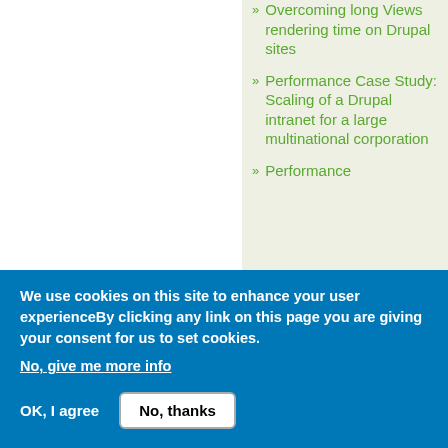Overcoming long Views rendering time on Drupal sites
Performance Case Study: Scaling of a Drupal intranet for a large multinational corporation
Performance
We use cookies on this site to enhance your user experienceBy clicking any link on this page you are giving your consent for us to set cookies.
No, give me more info
OK, I agree
No, thanks